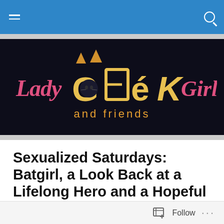Lady Geek Girl and friends — navigation bar
[Figure (logo): Lady Geek Girl and friends logo — dark background with stylized orange/yellow 'GEEK' lettering with cat ears, pink cursive 'Lady' and 'Girl' text, and orange 'and friends' subtitle]
Sexualized Saturdays: Batgirl, a Look Back at a Lifelong Hero and a Hopeful Look Forward
Posted by grigoriprime
Follow ...